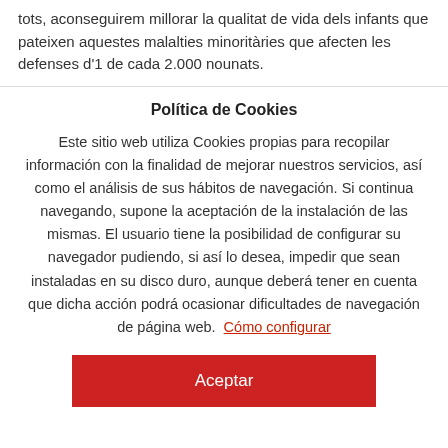tots, aconseguirem millorar la qualitat de vida dels infants que pateixen aquestes malalties minoritàries que afecten les defenses d'1 de cada 2.000 nounats.
Política de Cookies
Este sitio web utiliza Cookies propias para recopilar información con la finalidad de mejorar nuestros servicios, así como el análisis de sus hábitos de navegación. Si continua navegando, supone la aceptación de la instalación de las mismas. El usuario tiene la posibilidad de configurar su navegador pudiendo, si así lo desea, impedir que sean instaladas en su disco duro, aunque deberá tener en cuenta que dicha acción podrá ocasionar dificultades de navegación de página web. Cómo configurar